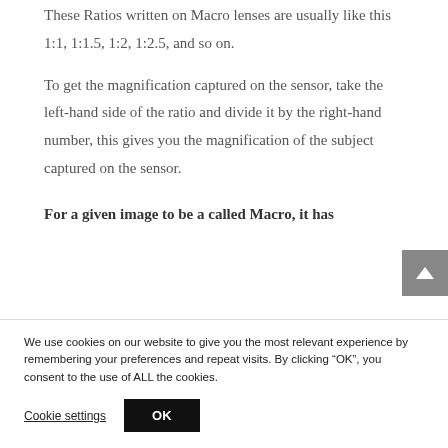These Ratios written on Macro lenses are usually like this 1:1, 1:1.5, 1:2, 1:2.5, and so on.
To get the magnification captured on the sensor, take the left-hand side of the ratio and divide it by the right-hand number, this gives you the magnification of the subject captured on the sensor.
For a given image to be a called Macro, it has
We use cookies on our website to give you the most relevant experience by remembering your preferences and repeat visits. By clicking “OK”, you consent to the use of ALL the cookies.
Cookie settings
OK